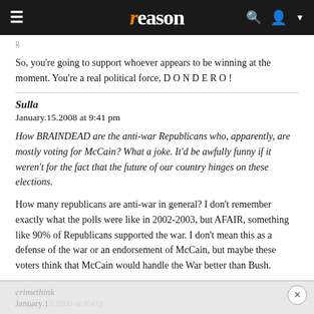reason
So, you're going to support whoever appears to be winning at the moment. You're a real political force, D O N D E R O !
Sulla
January.15.2008 at 9:41 pm
How BRAINDEAD are the anti-war Republicans who, apparently, are mostly voting for McCain? What a joke. It'd be awfully funny if it weren't for the fact that the future of our country hinges on these elections.
How many republicans are anti-war in general? I don't remember exactly what the polls were like in 2002-2003, but AFAIR, something like 90% of Republicans supported the war. I don't mean this as a defense of the war or an endorsement of McCain, but maybe these voters think that McCain would handle the War better than Bush.
crimethink
January.15.2008 at 9:41 pm
How BRAINDEAD are the anti-war Republicans who, apparently, are mostly...
[Figure (advertisement): Macy's lipstick advertisement: KISS BORING LIPS GOODBYE with SHOP NOW button and Macy's logo with star]